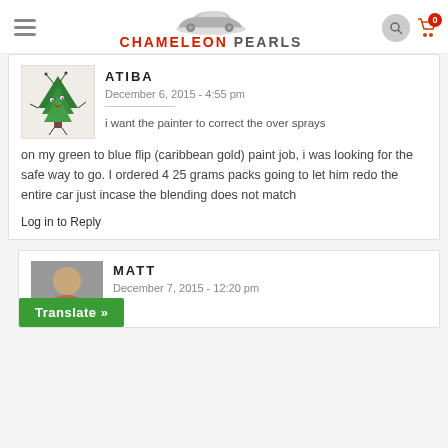CHAMELEON PEARLS
ATIBA
December 6, 2015 - 4:55 pm
i want the painter to correct the over sprays on my green to blue flip (caribbean gold) paint job, i was looking for the safe way to go. I ordered 4 25 grams packs going to let him redo the entire car just incase the blending does not match
Log in to Reply
MATT
December 7, 2015 - 12:20 pm